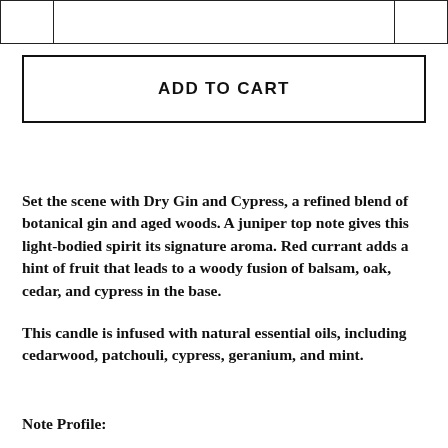|  |  |  |
ADD TO CART
Set the scene with Dry Gin and Cypress, a refined blend of botanical gin and aged woods. A juniper top note gives this light-bodied spirit its signature aroma. Red currant adds a hint of fruit that leads to a woody fusion of balsam, oak, cedar, and cypress in the base.
This candle is infused with natural essential oils, including cedarwood, patchouli, cypress, geranium, and mint.
Note Profile: